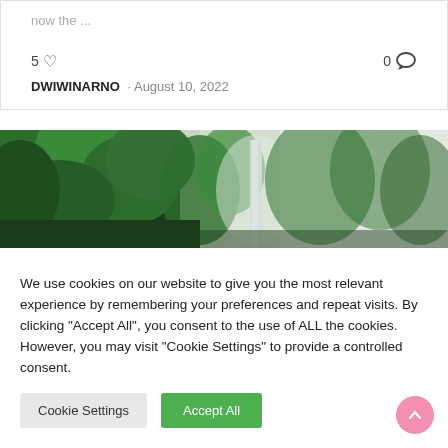now the ...
5 ♡   0 💬
DWIWINARNO · August 10, 2022
[Figure (photo): A lush green tropical forest with a waterfall partially obscured by mist in the background]
We use cookies on our website to give you the most relevant experience by remembering your preferences and repeat visits. By clicking "Accept All", you consent to the use of ALL the cookies. However, you may visit "Cookie Settings" to provide a controlled consent.